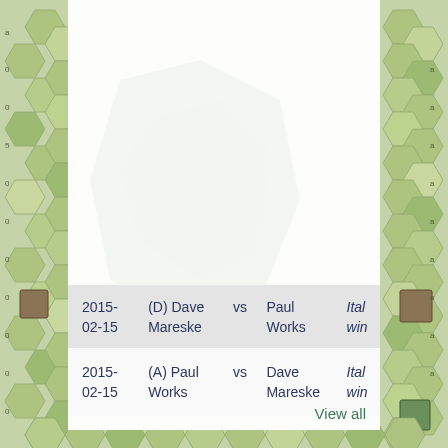[Figure (illustration): Hexagonal wargame map background with green terrain, hex grid, and map counters visible on left and right edges]
| 2015-02-15 | (D) Dave Mareske | vs | Paul Works | Ital… win |
| 2015-02-15 | (A) Paul Works | vs | Dave Mareske | Ital… win |
View all